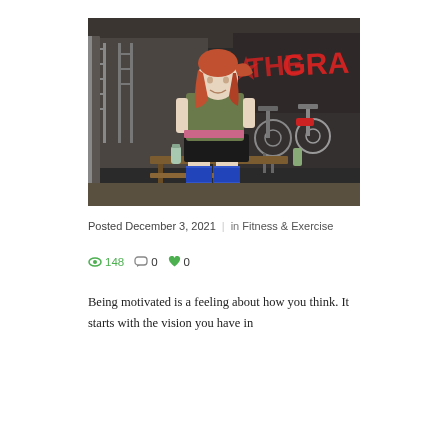[Figure (photo): A young woman with red hair in a ponytail sits on a wooden bench in a gym. She is wearing a green t-shirt, black shorts, blue knee braces, and has a water bottle beside her. Behind her are exercise bikes and gym equipment. There is graffiti-style text on the wall in the background.]
Posted December 3, 2021  |  in Fitness & Exercise
👁 148  💬 0  ❤ 0
Being motivated is a feeling about how you think. It starts with the vision you have in